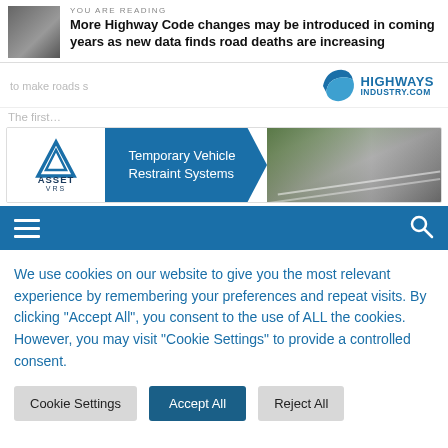YOU ARE READING
More Highway Code changes may be introduced in coming years as new data finds road deaths are increasing
[Figure (logo): Highways Industry .com logo with blue chevron/swoosh graphic]
to make roads s…
[Figure (photo): ASSET VRS banner ad — Temporary Vehicle Restraint Systems, showing motorway scene with vehicles]
[Figure (other): Navigation bar with hamburger menu and search icon on blue background]
We use cookies on our website to give you the most relevant experience by remembering your preferences and repeat visits. By clicking "Accept All", you consent to the use of ALL the cookies. However, you may visit "Cookie Settings" to provide a controlled consent.
Cookie Settings
Accept All
Reject All